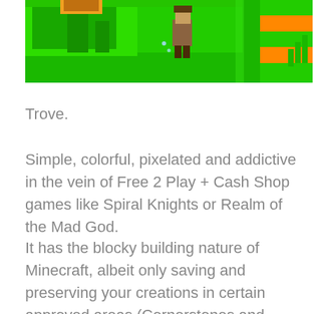[Figure (screenshot): Screenshot of the game Trove showing a pixelated 3D environment with bright green walls/floor, an orange and green striped wall on the right, a character figure in the center-right area, and some structures in the background.]
Trove.
Simple, colorful, pixelated and addictive in the vein of Free 2 Play + Cash Shop games like Spiral Knights or Realm of the Mad God.
It has the blocky building nature of Minecraft, albeit only saving and preserving your creations in certain approved areas (Cornerstones and Club Worlds.)